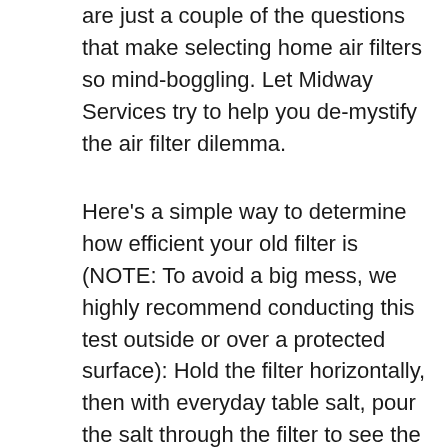are just a couple of the questions that make selecting home air filters so mind-boggling. Let Midway Services try to help you de-mystify the air filter dilemma.
Here's a simple way to determine how efficient your old filter is (NOTE: To avoid a big mess, we highly recommend conducting this test outside or over a protected surface): Hold the filter horizontally, then with everyday table salt, pour the salt through the filter to see the quantity that comes out the other side. If some or all the salt falls through the filter, then you can imagine that the filter will let dust particles of similar size pass through. You really should upgrade your filter to